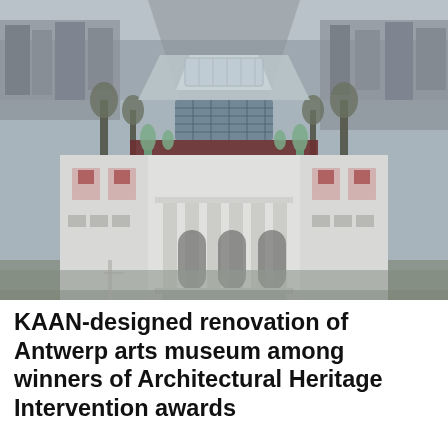[Figure (photo): Aerial drone photograph of the Royal Museum of Fine Arts Antwerp (KMSKA) showing the neoclassical white stone facade with columns and ornamental statues, a renovated rooftop with glass skylights and solar panels, surrounded by urban cityscape and bare trees.]
KAAN-designed renovation of Antwerp arts museum among winners of Architectural Heritage Intervention awards